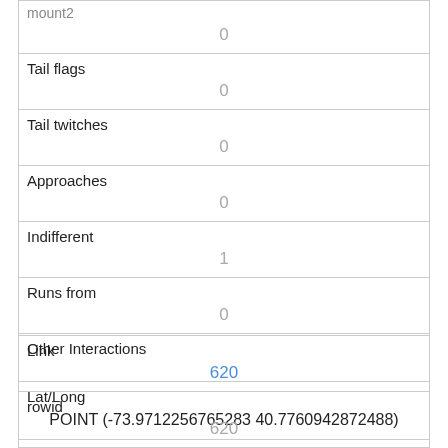| mount2 | 0 |
| Tail flags | 0 |
| Tail twitches | 0 |
| Approaches | 0 |
| Indifferent | 1 |
| Runs from | 0 |
| Other Interactions |  |
| Lat/Long | POINT (-73.9712256765283 40.7760942872488) |
| Link | 620 |
| rowid | 620 |